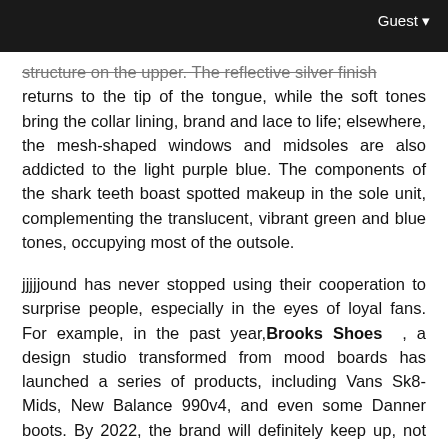Guest
structure on the upper. The reflective silver finish returns to the tip of the tongue, while the soft tones bring the collar lining, brand and lace to life; elsewhere, the mesh-shaped windows and midsoles are also addicted to the light purple blue. The components of the shark teeth boast spotted makeup in the sole unit, complementing the translucent, vibrant green and blue tones, occupying most of the outsole.
jjjjjound has never stopped using their cooperation to surprise people, especially in the eyes of loyal fans. For example, in the past year,Brooks Shoes , a design studio transformed from mood boards has launched a series of products, including Vans Sk8-Mids, New Balance 990v4, and even some Danner boots. By 2022, the brand will definitely keep up, not only preparing another 990v3, but also their own BAPE STA. IG revealed this morning that jjjjjjound x